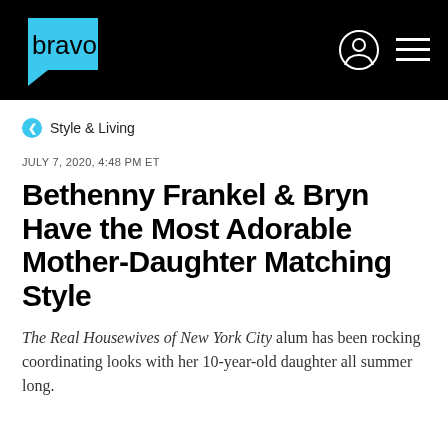[Figure (logo): Bravo TV website header navigation bar with Bravo logo (cyan speech bubble with 'bravo' text), user profile icon, and hamburger menu on black background]
Style & Living
JULY 7, 2020, 4:48 PM ET
Bethenny Frankel & Bryn Have the Most Adorable Mother-Daughter Matching Style
The Real Housewives of New York City alum has been rocking coordinating looks with her 10-year-old daughter all summer long.